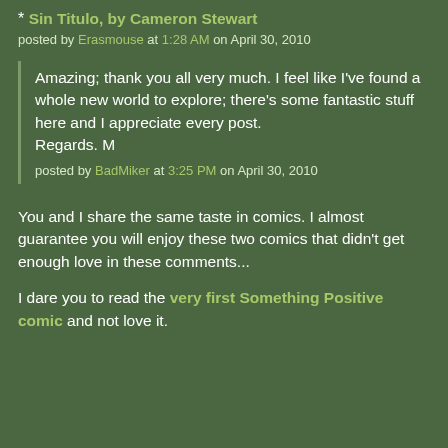* Sin Titulo, by Cameron Stewart
posted by Erasmouse at 1:28 AM on April 30, 2010
Amazing; thank you all very much. I feel like I've found a whole new world to explore; there's some fantastic stuff here and I appreciate every post.
Regards. M
posted by BadMiker at 3:25 PM on April 30, 2010
You and I share the same taste in comics. I almost guarantee you will enjoy these two comics that didn't get enough love in these comments...
I dare you to read the very first Something Positive comic and not love it.